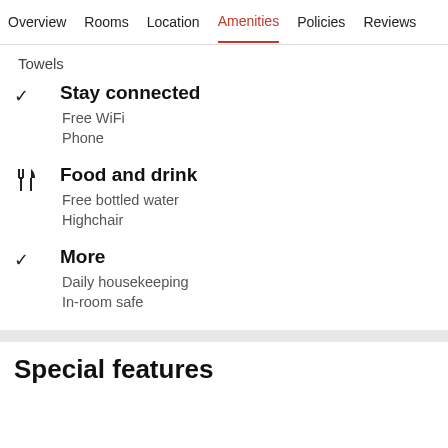Overview  Rooms  Location  Amenities  Policies  Reviews
Towels
Stay connected
Free WiFi
Phone
Food and drink
Free bottled water
Highchair
More
Daily housekeeping
In-room safe
Special features